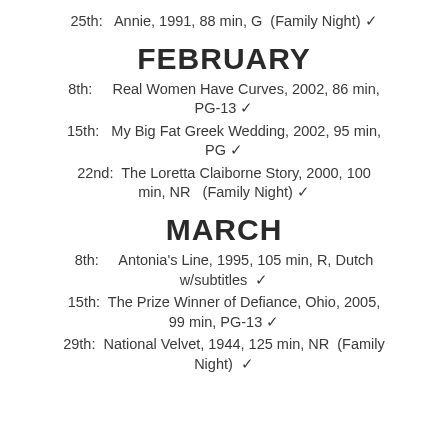25th:   Annie, 1991, 88 min, G  (Family Night) ✓
FEBRUARY
8th:     Real Women Have Curves, 2002, 86 min, PG-13 ✓
15th:   My Big Fat Greek Wedding, 2002, 95 min, PG ✓
22nd:  The Loretta Claiborne Story, 2000, 100 min, NR   (Family Night) ✓
MARCH
8th:     Antonia's Line, 1995, 105 min, R, Dutch w/subtitles  ✓
15th:  The Prize Winner of Defiance, Ohio, 2005, 99 min, PG-13 ✓
29th:  National Velvet, 1944, 125 min, NR  (Family Night)  ✓